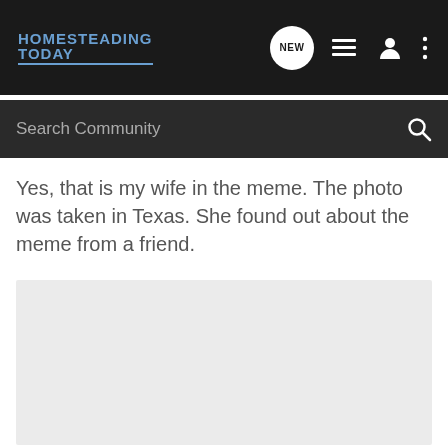HOMESTEADING TODAY
Search Community
Yes, that is my wife in the meme. The photo was taken in Texas. She found out about the meme from a friend.
[Figure (photo): Light grey placeholder image area]